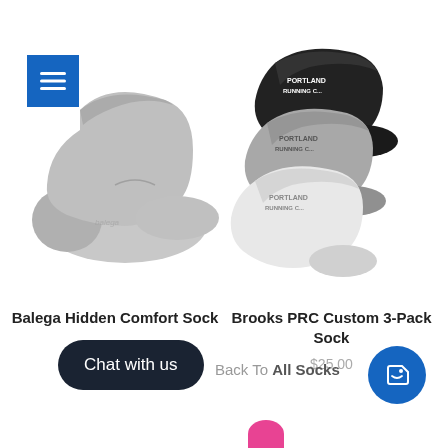[Figure (photo): Blue menu/hamburger button in upper left corner]
[Figure (photo): Gray low-cut athletic sock (Balega Hidden Comfort) on white background]
[Figure (photo): Three stacked ankle socks in black, gray, and white with Portland Running Co branding (Brooks PRC Custom 3-Pack)]
Balega Hidden Comfort Sock
$18.00
Brooks PRC Custom 3-Pack Sock
$25.00
Chat with us
Back To All Socks